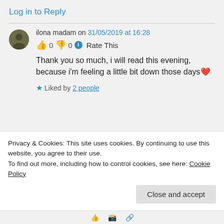Log in to Reply
ilona madam on 31/05/2019 at 16:28
👍 0 👎 0 ℹ Rate This
Thank you so much, i will read this evening, because i'm feeling a little bit down those days❤
★ Liked by 2 people
Privacy & Cookies: This site uses cookies. By continuing to use this website, you agree to their use.
To find out more, including how to control cookies, see here: Cookie Policy
Close and accept